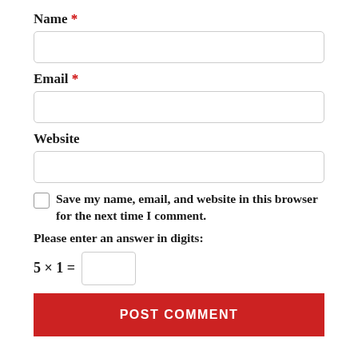Name *
Email *
Website
Save my name, email, and website in this browser for the next time I comment.
Please enter an answer in digits:
POST COMMENT